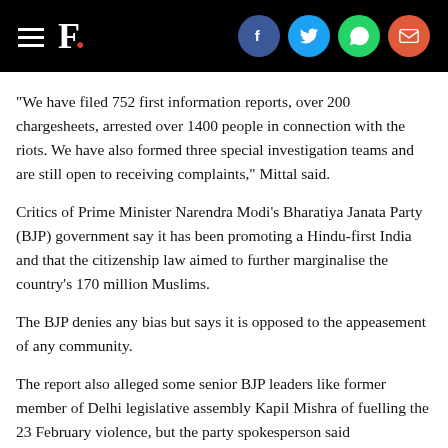F. [with social icons: Facebook, Twitter, WhatsApp, Email]
“We have filed 752 first information reports, over 200 chargesheets, arrested over 1400 people in connection with the riots. We have also formed three special investigation teams and are still open to receiving complaints,” Mittal said.
Critics of Prime Minister Narendra Modi’s Bharatiya Janata Party (BJP) government say it has been promoting a Hindu-first India and that the citizenship law aimed to further marginalise the country’s 170 million Muslims.
The BJP denies any bias but says it is opposed to the appeasement of any community.
The report also alleged some senior BJP leaders like former member of Delhi legislative assembly Kapil Mishra of fuelling the 23 February violence, but the party spokesperson said